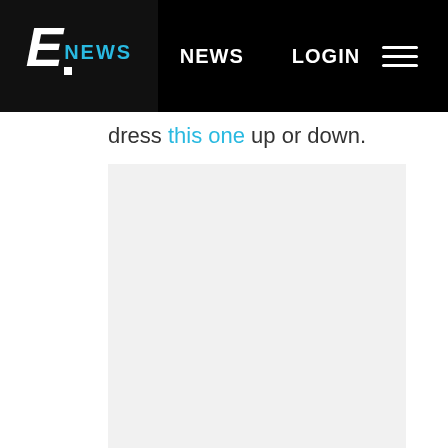E NEWS  NEWS  LOGIN
dress this one up or down.
[Figure (photo): Large light gray image placeholder rectangle below article text]